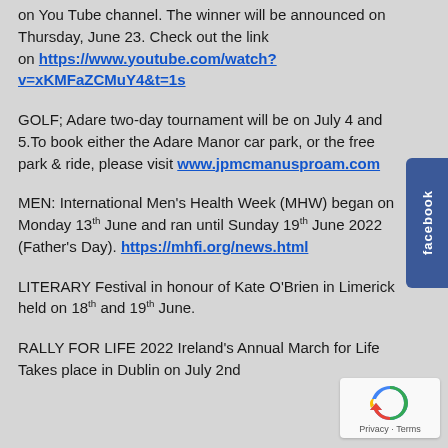on You Tube channel. The winner will be announced on Thursday, June 23. Check out the link on https://www.youtube.com/watch?v=xKMFaZCMuY4&t=1s
GOLF; Adare two-day tournament will be on July 4 and 5.To book either the Adare Manor car park, or the free park & ride, please visit www.jpmcmanusproam.com
MEN: International Men's Health Week (MHW) began on Monday 13th June and ran until Sunday 19th June 2022 (Father's Day). https://mhfi.org/news.html
LITERARY Festival in honour of Kate O'Brien in Limerick held on 18th and 19th June.
RALLY FOR LIFE 2022 Ireland's Annual March for Life Takes place in Dublin on July 2nd